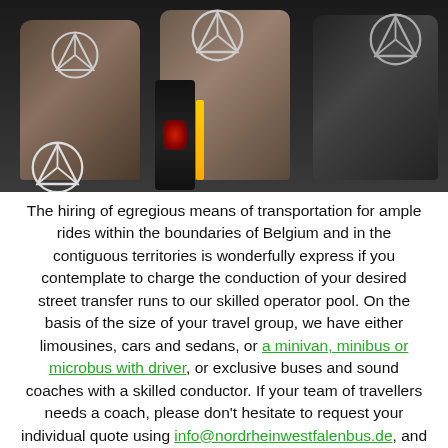[Figure (photo): Interior of a Mercedes-Benz vehicle showing leather seats and center console with Mercedes star logos visible on headrests and steering wheel]
The hiring of egregious means of transportation for ample rides within the boundaries of Belgium and in the contiguous territories is wonderfully express if you contemplate to charge the conduction of your desired street transfer runs to our skilled operator pool. On the basis of the size of your travel group, we have either limousines, cars and sedans, or a minivan, minibus or microbus with driver, or exclusive buses and sound coaches with a skilled conductor. If your team of travellers needs a coach, please don't hesitate to request your individual quote using info@nordrheinwestfalenbus.de, and minutely